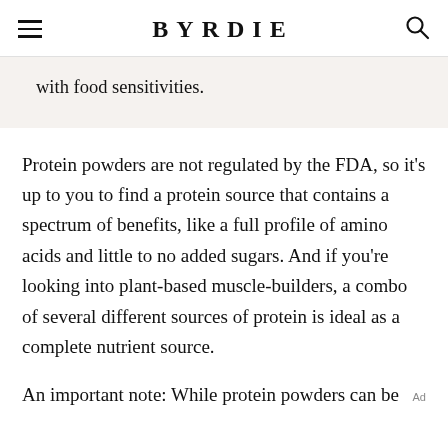BYRDIE
with food sensitivities.
Protein powders are not regulated by the FDA, so it's up to you to find a protein source that contains a spectrum of benefits, like a full profile of amino acids and little to no added sugars. And if you're looking into plant-based muscle-builders, a combo of several different sources of protein is ideal as a complete nutrient source.
An important note: While protein powders can be